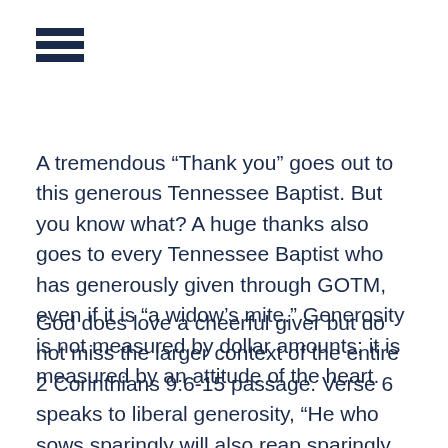[Figure (other): Hamburger menu icon — three horizontal dark navy bars stacked]
A tremendous “Thank you” goes out to this generous Tennessee Baptist. But you know what? A huge thanks also goes to every Tennessee Baptist who has generously given through GOTM, even if it is “a widow’s mite.” Generosity is not measured by dollar amounts; it is measured by an attitude of the heart.
God does love a cheerful giver but do not miss the larger context of the entire 2 Corinthians 9:6-15 passage. Verse 6 speaks to liberal generosity, “He who sows sparingly will also reap sparingly, and he who sows bountifully will